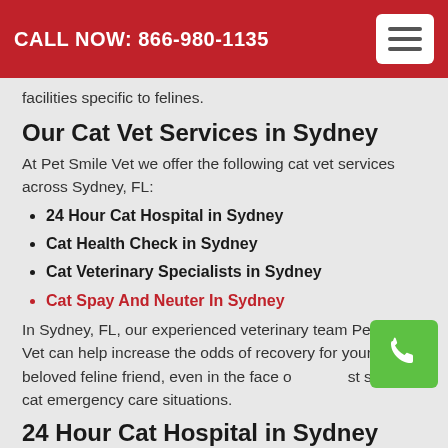CALL NOW: 866-980-1135
facilities specific to felines.
Our Cat Vet Services in Sydney
At Pet Smile Vet we offer the following cat vet services across Sydney, FL:
24 Hour Cat Hospital in Sydney
Cat Health Check in Sydney
Cat Veterinary Specialists in Sydney
Cat Spay And Neuter In Sydney
In Sydney, FL, our experienced veterinary team Pet Smile Vet can help increase the odds of recovery for your beloved feline friend, even in the face of the most severe cat emergency care situations.
24 Hour Cat Hospital in Sydney